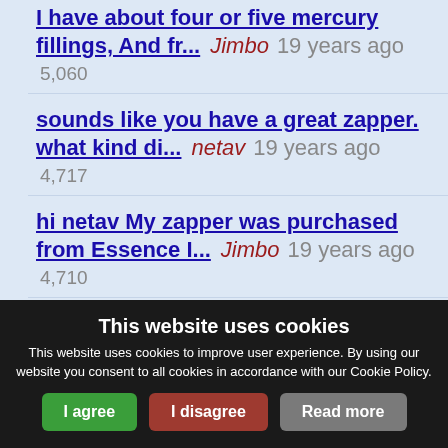I have about four or five mercury fillings, And fr... Jimbo 19 years ago 5,060
sounds like you have a great zapper. what kind di... netav 19 years ago 4,717
hi netav My zapper was purchased from Essence I... Jimbo 19 years ago 4,710
great info jimbo, thanks (EOM) netav 19 years ago 4,573
This website uses cookies
This website uses cookies to improve user experience. By using our website you consent to all cookies in accordance with our Cookie Policy.
I agree | I disagree | Read more